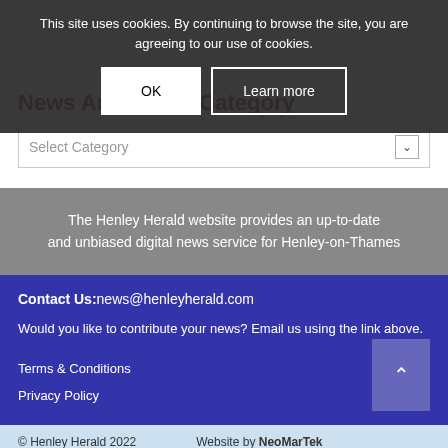This site uses cookies. By continuing to browse the site, you are agreeing to our use of cookies.
OK | Learn more
News Archive by Category
Select Category
The Henley Herald website provides an up-to-date and unbiased digital news service for Henley-on-Thames
Contact Us: news@henleyherald.com
Would you like to contribute your news? Email us using the link above.
Terms & Conditions
Privacy Policy
© Henley Herald 2022    Website by NeoMarTek